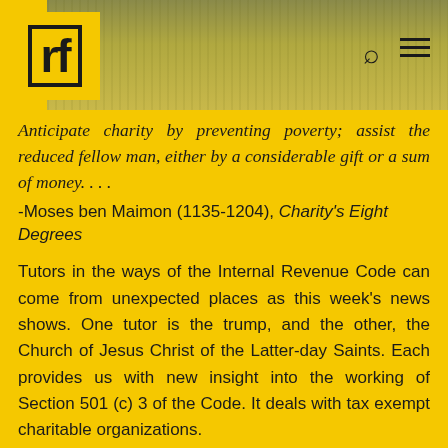rf
Anticipate charity by preventing poverty; assist the reduced fellow man, either by a considerable gift or a sum of money. . . .
-Moses ben Maimon (1135-1204), Charity's Eight Degrees
Tutors in the ways of the Internal Revenue Code can come from unexpected places as this week's news shows. One tutor is the trump, and the other, the Church of Jesus Christ of the Latter-day Saints. Each provides us with new insight into the working of Section 501 (c) 3 of the Code. It deals with tax exempt charitable organizations.
The Trump foundation was designated a 501(c)(3)